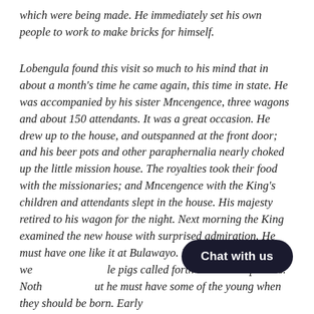which were being made. He immediately set his own people to work to make bricks for himself.
Lobengula found this visit so much to his mind that in about a month's time he came again, this time in state. He was accompanied by his sister Mncengence, three wagons and about 150 attendants. It was a great occasion. He drew up to the house, and outspanned at the front door; and his beer pots and other paraphernalia nearly choked up the little mission house. The royalties took their food with the missionaries; and Mncengence with the King's children and attendants slept in the house. His majesty retired to his wagon for the night. Next morning the King examined the new house with surprised admiration. He must have one like it at Bulawayo. He liked the garden we [Chat with us] le pigs called forth his loudest praises. Noth [Chat with us] ut he must have some of the young when they should be born. Early